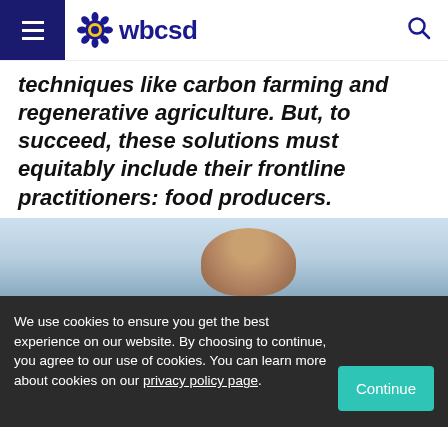wbcsd
techniques like carbon farming and regenerative agriculture. But, to succeed, these solutions must equitably include their frontline practitioners: food producers.
[Figure (photo): Partial view of a person outdoors against a light blue sky background, showing the top of their head]
We use cookies to ensure you get the best experience on our website. By choosing to continue, you agree to our use of cookies. You can learn more about cookies on our privacy policy page.